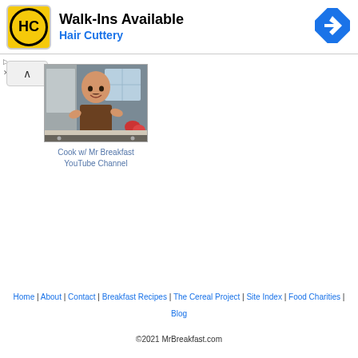[Figure (other): Hair Cuttery advertisement banner with HC logo on yellow background, text 'Walk-Ins Available' and 'Hair Cuttery' in blue, blue diamond turn arrow icon on right]
[Figure (screenshot): Video thumbnail showing a bald man smiling in a kitchen cooking, appears to be a YouTube video screenshot]
Cook w/ Mr Breakfast
YouTube Channel
Home | About | Contact | Breakfast Recipes | The Cereal Project | Site Index | Food Charities | Blog
©2021 MrBreakfast.com